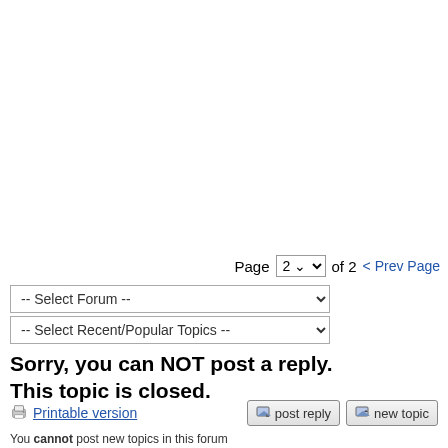Page 2 of 2  < Prev Page
-- Select Forum --
-- Select Recent/Popular Topics --
Sorry, you can NOT post a reply. This topic is closed.
Printable version
post reply
new topic
You cannot post new topics in this forum